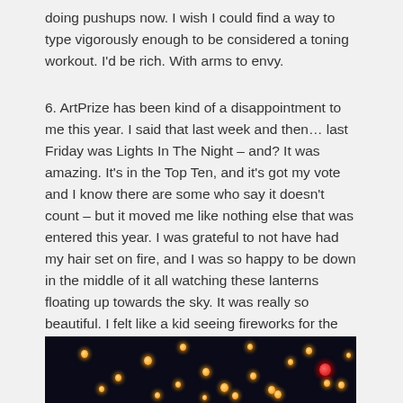doing pushups now. I wish I could find a way to type vigorously enough to be considered a toning workout. I'd be rich. With arms to envy.
6. ArtPrize has been kind of a disappointment to me this year. I said that last week and then… last Friday was Lights In The Night – and? It was amazing. It's in the Top Ten, and it's got my vote and I know there are some who say it doesn't count – but it moved me like nothing else that was entered this year. I was grateful to not have had my hair set on fire, and I was so happy to be down in the middle of it all watching these lanterns floating up towards the sky. It was really so beautiful. I felt like a kid seeing fireworks for the first time. It was really a sight that took my breath away.
[Figure (photo): Night sky photograph showing glowing paper lanterns floating upward against a dark background, with one red lantern visible on the right side.]